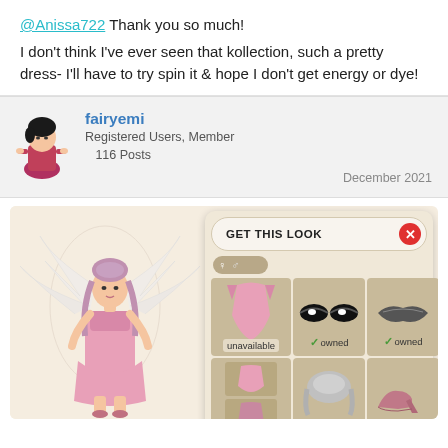@Anissa722 Thank you so much!
I don't think I've ever seen that kollection, such a pretty dress- I'll have to try spin it & hope I don't get energy or dye!
fairyemi
Registered Users, Member
116 Posts
December 2021
[Figure (screenshot): Game screenshot showing a fairy character in a pink dress with white feathered wings, and a 'GET THIS LOOK' panel showing outfit items: a pink dress (unavailable), eyes (owned), lips (owned), hair (owned), shoes (owned).]